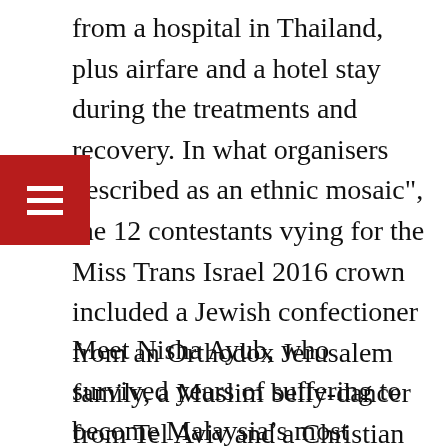from a hospital in Thailand, plus airfare and a hotel stay during the treatments and recovery. In what organisers described as an ethnic mosaic", the 12 contestants vying for the Miss Trans Israel 2016 crown included a Jewish confectioner from an Orthodox Jerusalem family, a Muslim belly-dancer from Tel Aviv and a Christian ballerina from Nazareth. english.alarabiya.net/en/variety/2016/05/28/Israeli-Arab-wins-first-Miss-Trans-Israel-pageant.html --
Meet Nisha Ayub, who survived years of suffering to become Malaysia’s most prominent transgender activist